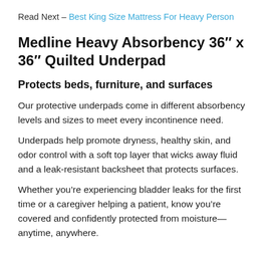Read Next – Best King Size Mattress For Heavy Person
Medline Heavy Absorbency 36″ x 36″ Quilted Underpad
Protects beds, furniture, and surfaces
Our protective underpads come in different absorbency levels and sizes to meet every incontinence need.
Underpads help promote dryness, healthy skin, and odor control with a soft top layer that wicks away fluid and a leak-resistant backsheet that protects surfaces.
Whether you're experiencing bladder leaks for the first time or a caregiver helping a patient, know you're covered and confidently protected from moisture—anytime, anywhere.